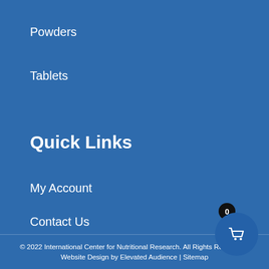Powders
Tablets
Quick Links
My Account
Contact Us
Privacy Policy
Shipping Policy
© 2022 International Center for Nutritional Research. All Rights Reserved. | Website Design by Elevated Audience | Sitemap